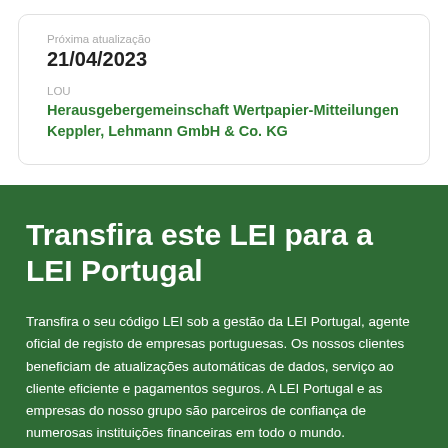Próxima atualização
21/04/2023
LOU
Herausgebergemeinschaft Wertpapier-Mitteilungen Keppler, Lehmann GmbH & Co. KG
Transfira este LEI para a LEI Portugal
Transfira o seu código LEI sob a gestão da LEI Portugal, agente oficial de registo de empresas portuguesas. Os nossos clientes beneficiam de atualizações automáticas de dados, serviço ao cliente eficiente e pagamentos seguros. A LEI Portugal e as empresas do nosso grupo são parceiros de confiança de numerosas instituições financeiras em todo o mundo.